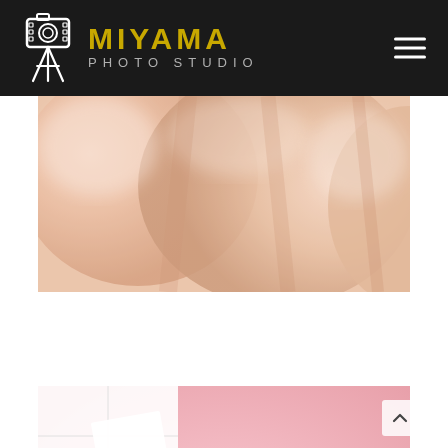[Figure (logo): Miyama Photo Studio logo with vintage camera icon on tripod, gold 'MIYAMA' text and grey 'PHOTO STUDIO' text on black background, with hamburger menu icon on right]
[Figure (photo): Close-up photograph of baby/infant skin, soft peach and cream tones, blurred background]
[Figure (photo): Pink flatlay photograph with gold chain necklace, white ceramic bowls, white geometric paper shapes on pink background]